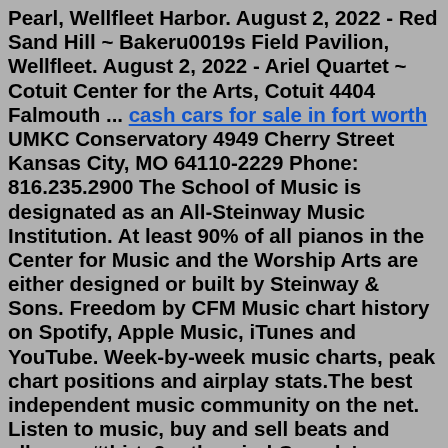Pearl, Wellfleet Harbor. August 2, 2022 - Red Sand Hill ~ Bakeru0019s Field Pavilion, Wellfleet. August 2, 2022 - Ariel Quartet ~ Cotuit Center for the Arts, Cotuit 4404 Falmouth ... cash cars for sale in fort worth UMKC Conservatory 4949 Cherry Street Kansas City, MO 64110-2229 Phone: 816.235.2900 The School of Music is designated as an All-Steinway Music Institution. At least 90% of all pianos in the Center for Music and the Worship Arts are either designed or built by Steinway & Sons. Freedom by CFM Music chart history on Spotify, Apple Music, iTunes and YouTube. Week-by-week music charts, peak chart positions and airplay stats.The best independent music community on the net. Listen to music, buy and sell beats and albums. #thirty2onthegrind Canada's unions call on new federal government to prioritize reconciliation on of first National Day for Truth and Reconciliation The members of the Chicago Federation of Musicians perform all styles of music including Jazz, Classical, Contemporary and Classic Rock, Latin, Folk, Blues...